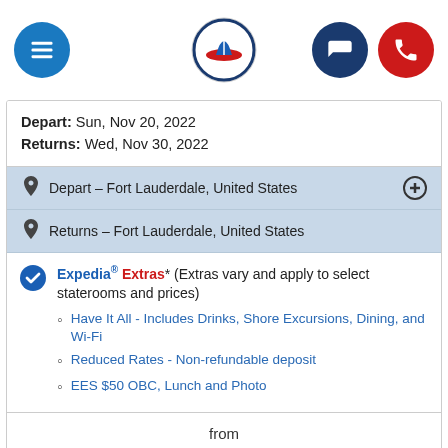Navigation bar with menu, logo, email, and phone buttons
Depart: Sun, Nov 20, 2022
Returns: Wed, Nov 30, 2022
Depart – Fort Lauderdale, United States
Returns – Fort Lauderdale, United States
Expedia® Extras* (Extras vary and apply to select staterooms and prices)
Have It All - Includes Drinks, Shore Excursions, Dining, and Wi-Fi
Reduced Rates - Non-refundable deposit
EES $50 OBC, Lunch and Photo
from
$649* USD
*restrictions apply
Learn More  Or  Request Quote